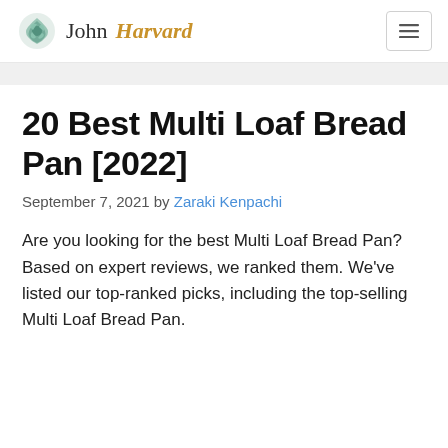John Harvard
20 Best Multi Loaf Bread Pan [2022]
September 7, 2021 by Zaraki Kenpachi
Are you looking for the best Multi Loaf Bread Pan? Based on expert reviews, we ranked them. We've listed our top-ranked picks, including the top-selling Multi Loaf Bread Pan.